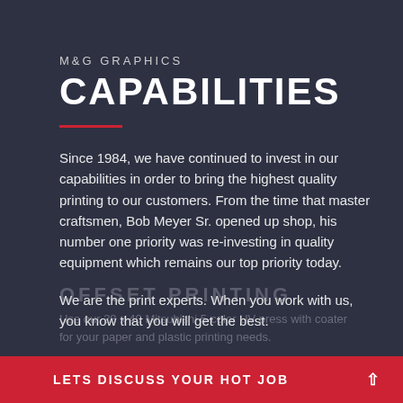M&G GRAPHICS CAPABILITIES
Since 1984, we have continued to invest in our capabilities in order to bring the highest quality printing to our customers. From the time that master craftsmen, Bob Meyer Sr. opened up shop, his number one priority was re-investing in quality equipment which remains our top priority today.
We are the print experts. When you work with us, you know that you will get the best.
Use our 28 x 40 Mitsubishi 5-color UV press with coater for your paper and plastic printing needs.
LETS DISCUSS YOUR HOT JOB